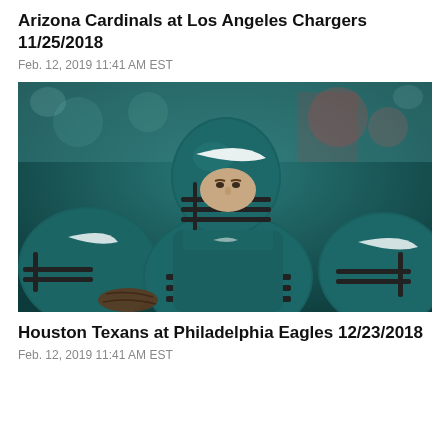Arizona Cardinals at Los Angeles Chargers 11/25/2018
Feb. 12, 2019 11:41 AM EST
[Figure (photo): Philadelphia Eagles quarterback in teal helmet standing behind offensive linemen in a huddle formation on the field]
Houston Texans at Philadelphia Eagles 12/23/2018
Feb. 12, 2019 11:41 AM EST